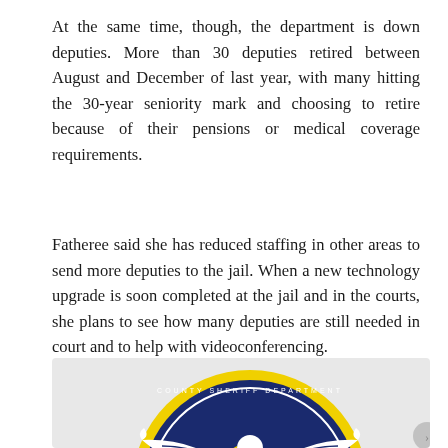At the same time, though, the department is down deputies. More than 30 deputies retired between August and December of last year, with many hitting the 30-year seniority mark and choosing to retire because of their pensions or medical coverage requirements.
Fatheree said she has reduced staffing in other areas to send more deputies to the jail. When a new technology upgrade is soon completed at the jail and in the courts, she plans to see how many deputies are still needed in court and to help with videoconferencing.
[Figure (logo): Partial view of a law enforcement or government agency seal/badge featuring a blue circle with a yellow border and a white eagle with spread wings on a dark navy background.]